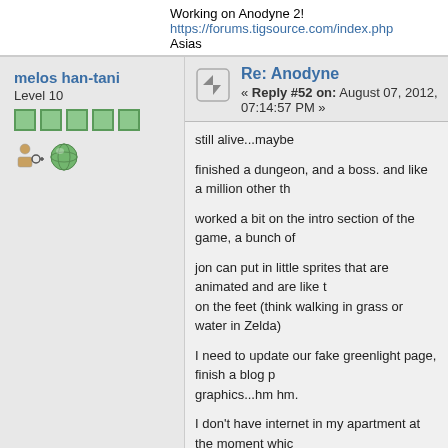Working on Anodyne 2! https://forums.tigsource.com/index.php... Asias
melos han-tani
Level 10
Re: Anodyne
« Reply #52 on: August 07, 2012, 07:14:57 PM »
still alive...maybe
finished a dungeon, and a boss. and like a million other th
worked a bit on the intro section of the game, a bunch of
jon can put in little sprites that are animated and are like t on the feet (think walking in grass or water in Zelda)
I need to update our fake greenlight page, finish a blog p graphics...hm hm.
I don't have internet in my apartment at the moment whic
« Last Edit: August 07, 2012, 07:25:31 PM by seagaia »
Working on Anodyne 2! https://forums.tigsource.com/index.php...